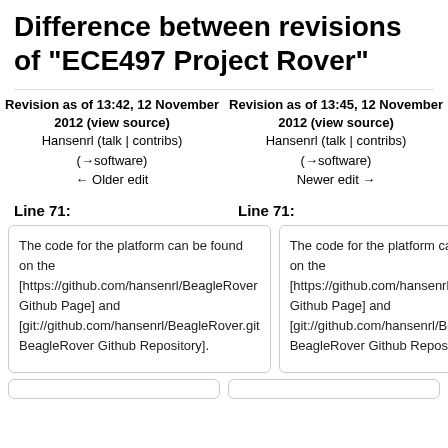Difference between revisions of "ECE497 Project Rover"
Revision as of 13:42, 12 November 2012 (view source)
Hansenrl (talk | contribs)
(→software)
← Older edit
Revision as of 13:45, 12 November 2012 (view source)
Hansenrl (talk | contribs)
(→software)
Newer edit →
Line 71:
Line 71:
The code for the platform can be found on the [https://github.com/hansenrl/BeagleRover Github Page] and [git://github.com/hansenrl/BeagleRover.git BeagleRover Github Repository].
The code for the platform can be found on the [https://github.com/hansenrl/BeagleRover Github Page] and [git://github.com/hansenrl/BeagleRover.git BeagleRover Github Repository].